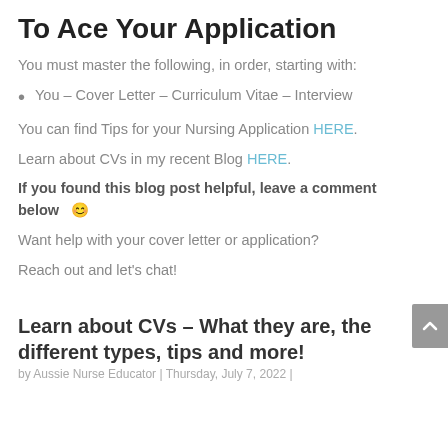To Ace Your Application
You must master the following, in order, starting with:
You – Cover Letter – Curriculum Vitae – Interview
You can find Tips for your Nursing Application HERE.
Learn about CVs in my recent Blog HERE.
If you found this blog post helpful, leave a comment below 😊
Want help with your cover letter or application?
Reach out and let's chat!
Learn about CVs – What they are, the different types, tips and more!
by Aussie Nurse Educator | Thursday, July 7, 2022 |